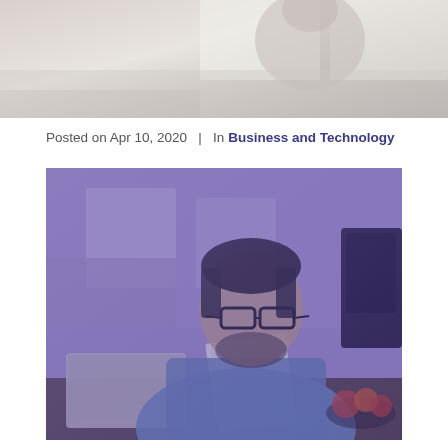[Figure (photo): Blurred background photo of a person at a desk, top banner image]
Posted on Apr 10, 2020  |  In Business and Technology
[Figure (photo): Man with glasses wearing a denim shirt sitting at a kitchen table reading documents, with a laptop open beside him, a coffee mug and fruit bowl in the background, image has a purple/violet color overlay]